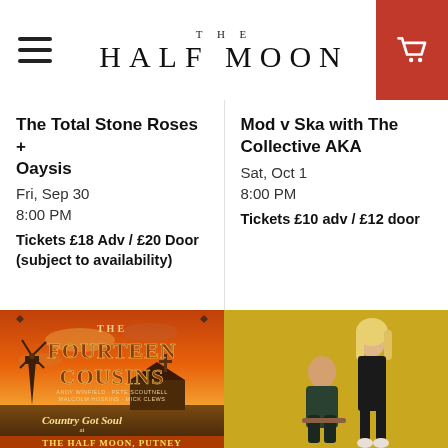THE HALF MOON
The Total Stone Roses + Oaysis
Fri, Sep 30
8:00 PM
Tickets £18 Adv / £20 Door (subject to availability)
Mod v Ska with The Collective AKA
Sat, Oct 1
8:00 PM
Tickets £10 adv / £12 door
[Figure (illustration): Promotional poster for The Fourteen Cousins showing a western/country scene with a windmill and barn at sunset with orange sky. Text reads: THE FOURTEEN COUSINS, Andy Winfield, Pete Scoutnell, Malcolm Hoskins, Mick Clews, Country Got Soul at The Half Moon, Putney]
[Figure (photo): Photo of two musicians — a man seated and a woman standing — against a yellow/gold background, both dressed in dark clothing]